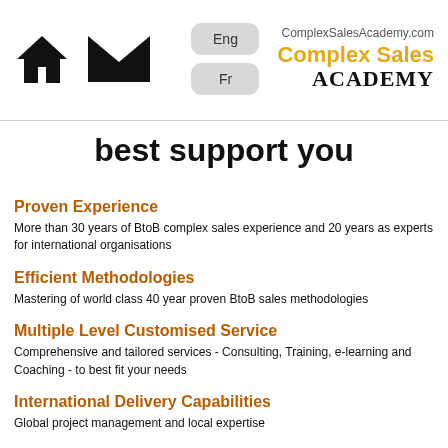[Figure (logo): Home icon and envelope/mail icon in header]
Eng Fr ComplexSalesAcademy.com Complex Sales ACADEMY
best support you
Proven Experience
More than 30 years of BtoB complex sales experience and 20 years as experts for international organisations
Efficient Methodologies
Mastering of world class 40 year proven BtoB sales methodologies
Multiple Level Customised Service
Comprehensive and tailored services - Consulting, Training, e-learning and Coaching - to best fit your needs
International Delivery Capabilities
Global project management and local expertise